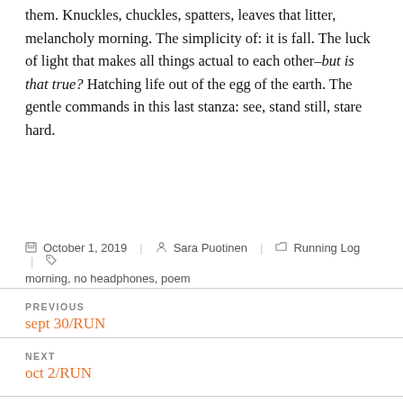them. Knuckles, chuckles, spatters, leaves that litter, melancholy morning. The simplicity of: it is fall. The luck of light that makes all things actual to each other–but is that true? Hatching life out of the egg of the earth. The gentle commands in this last stanza: see, stand still, stare hard.
October 1, 2019  Sara Puotinen  Running Log  morning, no headphones, poem
PREVIOUS
sept 30/RUN
NEXT
oct 2/RUN